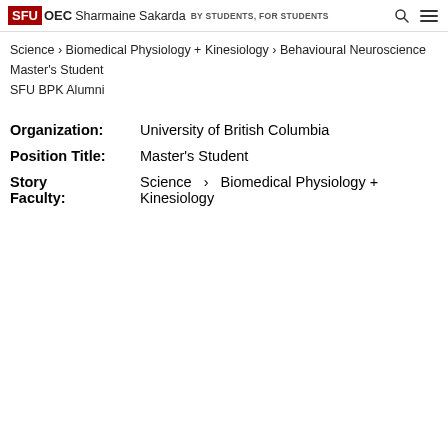SFU OEC Sharmaine Sakarda BY STUDENTS, FOR STUDENTS
Science › Biomedical Physiology + Kinesiology › Behavioural Neuroscience
Master's Student
SFU BPK Alumni
| Field | Value |
| --- | --- |
| Organization: | University of British Columbia |
| Position Title: | Master's Student |
| Story
Faculty: | Science  ›  Biomedical Physiology +
Kinesiology |